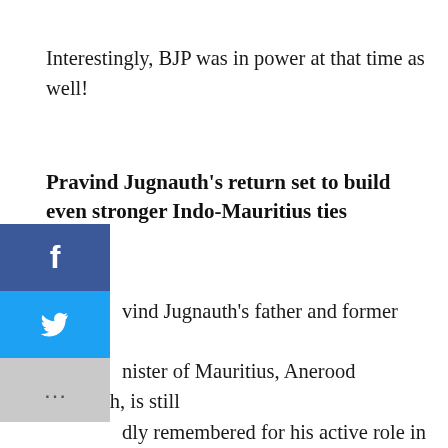Interestingly, BJP was in power at that time as well!
Pravind Jugnauth's return set to build even stronger Indo-Mauritius ties
Pravind Jugnauth's father and former Prime Minister of Mauritius, Anerood Jugnauth, is still fondly remembered for his active role in building ties with India not just for the sake of diplomacy but culture as well.
During The International Gita Mahotsav at Port Louis, Mauritius, in February 2019, Anerood Jugnauth happily suggested that the cultural